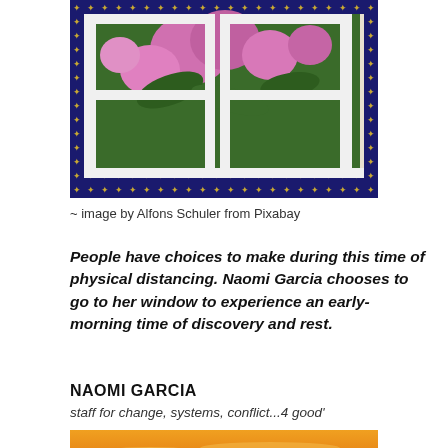[Figure (photo): Photo of pink and purple flowers seen through an open white window frame, with a decorative dark blue border with gold fleur-de-lis pattern]
~ image by Alfons Schuler from Pixabay
People have choices to make during this time of physical distancing. Naomi Garcia chooses to go to her window to experience an early-morning time of discovery and rest.
NAOMI GARCIA
staff for change, systems, conflict...4 good'
[Figure (photo): Sunset photo with orange sky and silhouetted bare trees]